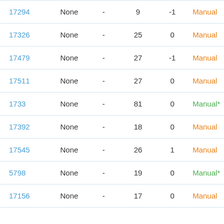| ID | Type | - | Col1 | Col2 | Status |
| --- | --- | --- | --- | --- | --- |
| 17294 | None | - | 9 | -1 | Manual |
| 17326 | None | - | 25 | 0 | Manual |
| 17479 | None | - | 27 | -1 | Manual |
| 17511 | None | - | 27 | 0 | Manual |
| 1733 | None | - | 81 | 0 | Manual* |
| 17392 | None | - | 18 | 0 | Manual |
| 17545 | None | - | 26 | 1 | Manual |
| 5798 | None | - | 19 | 0 | Manual* |
| 17156 | None | - | 17 | 0 | Manual |